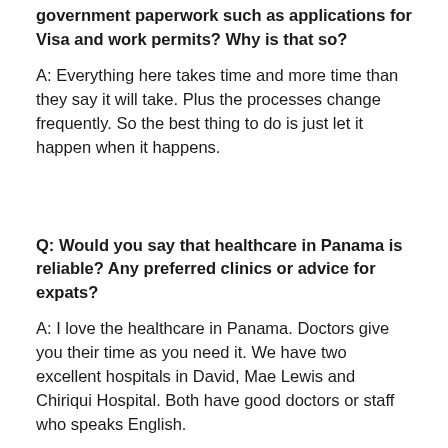government paperwork such as applications for Visa and work permits? Why is that so?
A: Everything here takes time and more time than they say it will take. Plus the processes change frequently. So the best thing to do is just let it happen when it happens.
Q: Would you say that healthcare in Panama is reliable? Any preferred clinics or advice for expats?
A: I love the healthcare in Panama. Doctors give you their time as you need it. We have two excellent hospitals in David, Mae Lewis and Chiriqui Hospital. Both have good doctors or staff who speaks English.
Q: Did you secure a health insurance in the US or